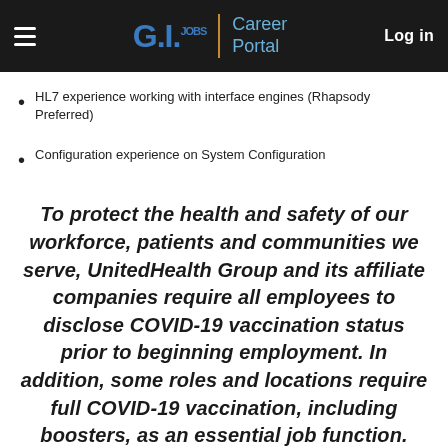G.I.jobs | Career Portal — Log in
HL7 experience working with interface engines (Rhapsody Preferred)
Configuration experience on System Configuration
To protect the health and safety of our workforce, patients and communities we serve, UnitedHealth Group and its affiliate companies require all employees to disclose COVID-19 vaccination status prior to beginning employment. In addition, some roles and locations require full COVID-19 vaccination, including boosters, as an essential job function. UnitedHealth